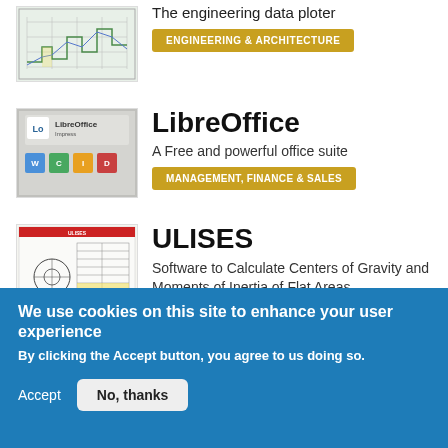[Figure (screenshot): Engineering data plotter screenshot thumbnail]
The engineering data ploter
ENGINEERING & ARCHITECTURE
[Figure (screenshot): LibreOffice application screenshot thumbnail]
LibreOffice
A Free and powerful office suite
MANAGEMENT, FINANCE & SALES
[Figure (screenshot): ULISES software screenshot thumbnail]
ULISES
Software to Calculate Centers of Gravity and Moments of Inertia of Flat Areas
We use cookies on this site to enhance your user experience
By clicking the Accept button, you agree to us doing so.
Accept
No, thanks